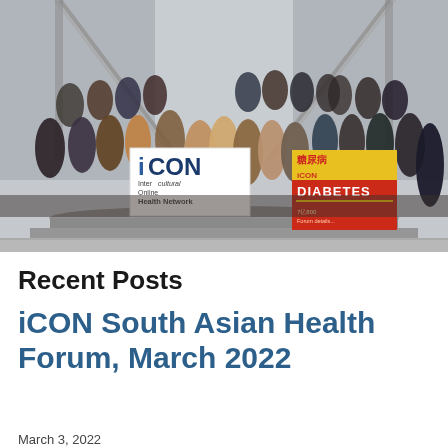[Figure (photo): Group photo of approximately 30 people standing on steps inside a building. Several people hold banners: one white iCON (InterCultural Online Health Network) banner and one red/yellow Diabetes awareness poster with Chinese characters. People are dressed in business casual and formal attire.]
Recent Posts
iCON South Asian Health Forum, March 2022
March 3, 2022